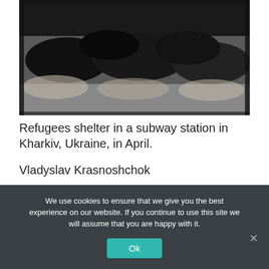[Figure (photo): Black and white photograph of refugees sheltering in a subway station, people lying on the ground with belongings around them.]
Refugees shelter in a subway station in Kharkiv, Ukraine, in April.
Vladyslav Krasnoshchok
We use cookies to ensure that we give you the best experience on our website. If you continue to use this site we will assume that you are happy with it.